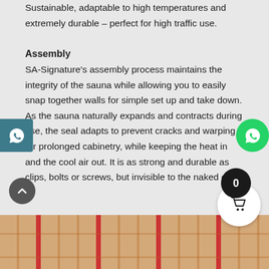Sustainable, adaptable to high temperatures and extremely durable – perfect for high traffic use.
Assembly
SA-Signature's assembly process maintains the integrity of the sauna while allowing you to easily snap together walls for simple set up and take down. As the sauna naturally expands and contracts during use, the seal adapts to prevent cracks and warping for prolonged cabinetry, while keeping the heat in and the cool air out. It is as strong and durable as clips, bolts or screws, but invisible to the naked eye.
[Figure (photo): Sauna wood panels with red accent strips, showing horizontal wooden slats assembled together.]